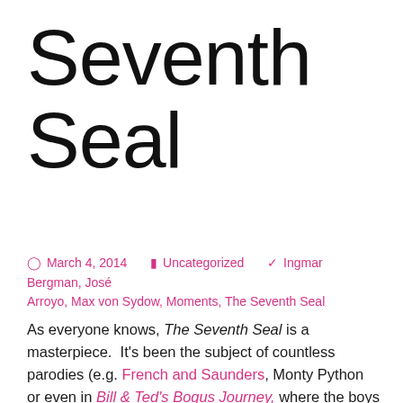Seventh Seal
March 4, 2014   Uncategorized   Ingmar Bergman, José Arroyo, Max von Sydow, Moments, The Seventh Seal
As everyone knows, The Seventh Seal is a masterpiece. It's been the subject of countless parodies (e.g. French and Saunders, Monty Python or even in Bill & Ted's Bogus Journey, where the boys play Battleship instead of Chess and win, thus cheating Death, an outcome possible in comedy but never in Bergman, despite his work being funnier than his reputation admits to). But in spite of their